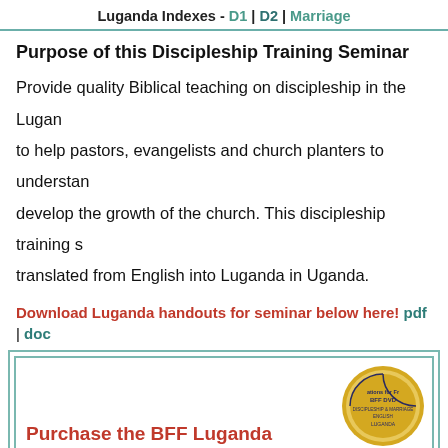Luganda Indexes - D1 | D2 | Marriage
Purpose of this Discipleship Training Seminar
Provide quality Biblical teaching on discipleship in the Luganda to help pastors, evangelists and church planters to understand develop the growth of the church. This discipleship training s translated from English into Luganda in Uganda.
Download Luganda handouts for seminar below here! pdf | doc
Purchase the BFF Luganda